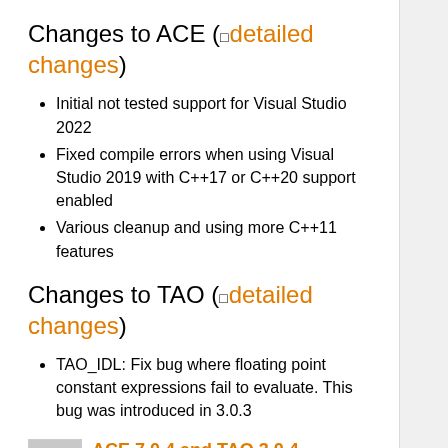Changes to ACE (detailed changes)
Initial not tested support for Visual Studio 2022
Fixed compile errors when using Visual Studio 2019 with C++17 or C++20 support enabled
Various cleanup and using more C++11 features
Changes to TAO (detailed changes)
TAO_IDL: Fix bug where floating point constant expressions fail to evaluate. This bug was introduced in 3.0.3
ACE 7.0.4 and TAO 3.0.4 released
Added by Johnny Willemsen 11 months ago